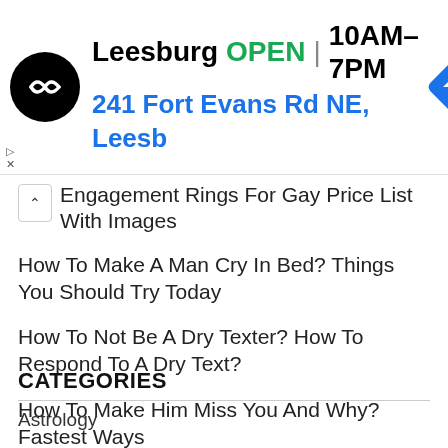[Figure (screenshot): Advertisement banner for a jewelry store in Leesburg. Shows a black circle logo with arrow icon, text 'Leesburg OPEN 10AM-7PM' and address '241 Fort Evans Rd NE, Leesb' with a blue navigation diamond icon.]
Engagement Rings For Gay Price List With Images
How To Make A Man Cry In Bed? Things You Should Try Today
How To Not Be A Dry Texter? How To Respond To A Dry Text?
How To Make Him Miss You And Why? Fastest Ways
CATEGORIES
Astrology